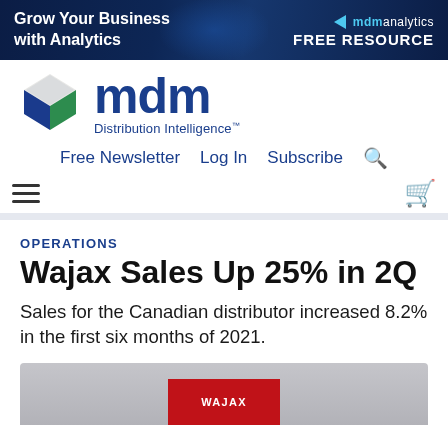[Figure (screenshot): Banner ad: 'Grow Your Business with Analytics' with mdm analytics FREE RESOURCE branding on dark blue background]
[Figure (logo): MDM Distribution Intelligence logo — cube icon with blue and green facets, 'mdm' in large blue text, 'Distribution Intelligence™' tagline below]
Free Newsletter   Log In   Subscribe   🔍
OPERATIONS
Wajax Sales Up 25% in 2Q
Sales for the Canadian distributor increased 8.2% in the first six months of 2021.
[Figure (photo): Partial photo of Wajax building/sign at bottom of page]